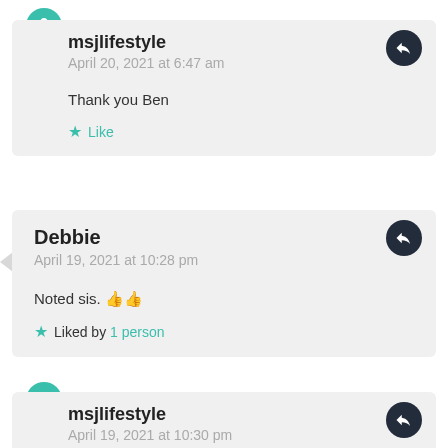msjlifestyle
April 20, 2021 at 6:47 am

Thank you Ben

★ Like
Debbie
April 19, 2021 at 10:28 pm

Noted sis. 👍👍

★ Liked by 1 person
msjlifestyle
April 19, 2021 at 10:30 pm